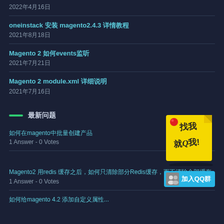2022年4月16日
oneinstack 安装 magento2.4.3 详情教程
2021年8月18日
Magento 2 如何events监听
2021年7月21日
Magento 2 module.xml 详细说明
2021年7月16日
最新问题
[Figure (illustration): Yellow sticky note with red dot and Chinese text 找我就Q我!]
如何在magento中批量创建产品
1 Answer - 0 Votes
[Figure (illustration): QQ group join button with avatar icon and text 加入QQ群]
Magento2 用redis 缓存之后，如何只清除部分Redis缓存，而不清除全部缓存
1 Answer - 0 Votes
如何给magento 4.2 添加自定义属性...